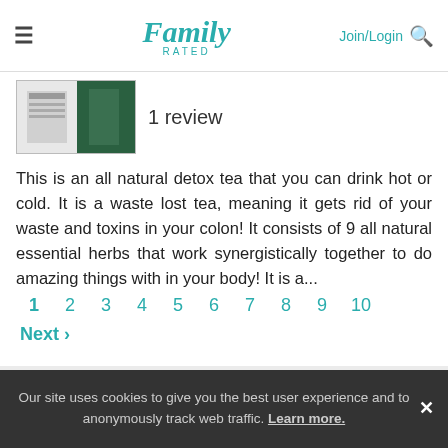Family Rated | Join/Login
1 review
This is an all natural detox tea that you can drink hot or cold. It is a waste lost tea, meaning it gets rid of your waste and toxins in your colon! It consists of 9 all natural essential herbs that work synergistically together to do amazing things with in your body! It is a...
1 2 3 4 5 6 7 8 9 10
Next ›
Business Inquiries
Code of Conduct
Our site uses cookies to give you the best user experience and to anonymously track web traffic. Learn more. ✕